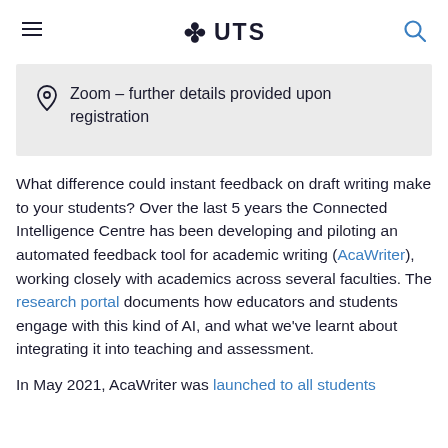UTS
Zoom – further details provided upon registration
What difference could instant feedback on draft writing make to your students? Over the last 5 years the Connected Intelligence Centre has been developing and piloting an automated feedback tool for academic writing (AcaWriter), working closely with academics across several faculties. The research portal documents how educators and students engage with this kind of AI, and what we've learnt about integrating it into teaching and assessment.
In May 2021, AcaWriter was launched to all students